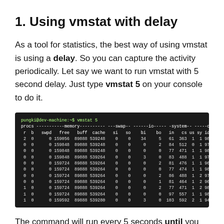1. Using vmstat with delay
As a tool for statistics, the best way of using vmstat is using a delay. So you can capture the activity periodically. Let say we want to run vmstat with 5 second delay. Just type vmstat 5 on your console to do it.
[Figure (screenshot): Terminal screenshot showing vmstat 5 command output with columns: procs, memory (swpd, free, buff, cache), swap (si, so), io (bi, bo), system (in, cs), cpu (us, sy, id, wa)]
The command will run every 5 seconds until you